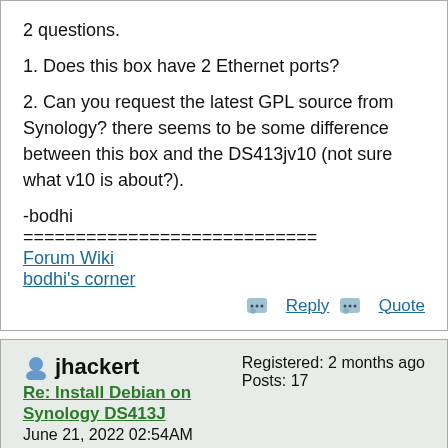2 questions.
1. Does this box have 2 Ethernet ports?
2. Can you request the latest GPL source from Synology? there seems to be some difference between this box and the DS413jv10 (not sure what v10 is about?).
-bodhi
============================
Forum Wiki
bodhi's corner
Reply   Quote
jhackert
Registered: 2 months ago
Posts: 17
Re: Install Debian on Synology DS413J
June 21, 2022 02:54AM
Bodhi,

the box does have 1 Ethernet port.